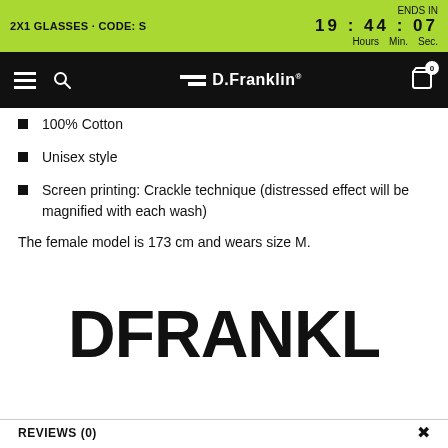2X1 GLASSES · CODE: S  ENDS IN  19 : 44 : 07  Hours  Min.  Sec.
D.Franklin® navigation bar
100% Cotton
Unisex style
Screen printing: Crackle technique (distressed effect will be magnified with each wash)
The female model is 173 cm and wears size M.
[Figure (logo): Large bold text logo reading DFRANKL]
REVIEWS (0)